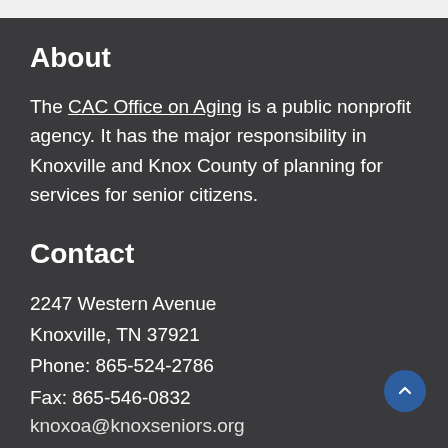About
The CAC Office on Aging is a public nonprofit agency. It has the major responsibility in Knoxville and Knox County of planning for services for senior citizens.
Contact
2247 Western Avenue
Knoxville, TN 37921
Phone: 865-524-2786
Fax: 865-546-0832
knoxoa@knoxseniors.org